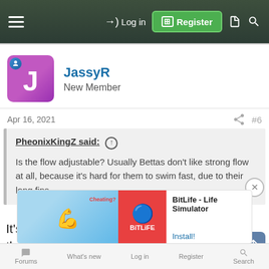Log in | Register
JassyR
New Member
Apr 16, 2021  #6
PheonixKingZ said: ↑

Is the flow adjustable? Usually Bettas don't like strong flow at all, because it's hard for them to swim fast, due to their long fins.
It's not. That's why I moved the filter over to the side instead of having it in the middle of the tank.
[Figure (screenshot): Ad banner for BitLife - Life Simulator app with Install button]
Forums   What's new   Log in   Register   Search